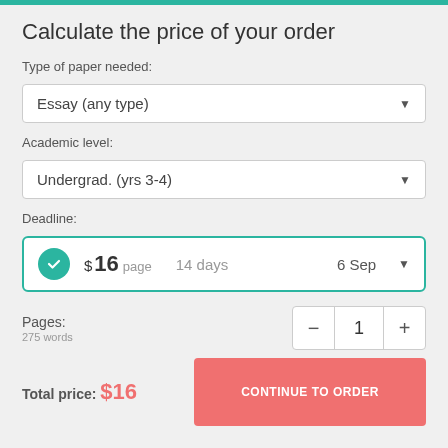Calculate the price of your order
Type of paper needed:
Essay (any type)
Academic level:
Undergrad. (yrs 3-4)
Deadline:
$16 page  14 days  6 Sep
Pages:
275 words
1
Total price: $16
CONTINUE TO ORDER